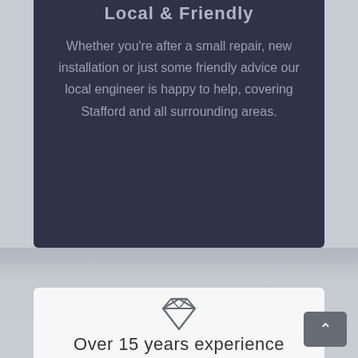Local & Friendly
Whether you're after a small repair, new installation or just some friendly advice our local engineer is happy to help, covering Stafford and all surrounding areas.
[Figure (illustration): Diamond / gem icon in gray outline style]
Over 15 years experience